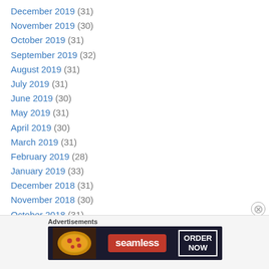December 2019 (31)
November 2019 (30)
October 2019 (31)
September 2019 (32)
August 2019 (31)
July 2019 (31)
June 2019 (30)
May 2019 (31)
April 2019 (30)
March 2019 (31)
February 2019 (28)
January 2019 (33)
December 2018 (31)
November 2018 (30)
October 2018 (31)
September 2018 (32)
[Figure (other): Seamless food delivery advertisement banner with pizza image, seamless logo and ORDER NOW button]